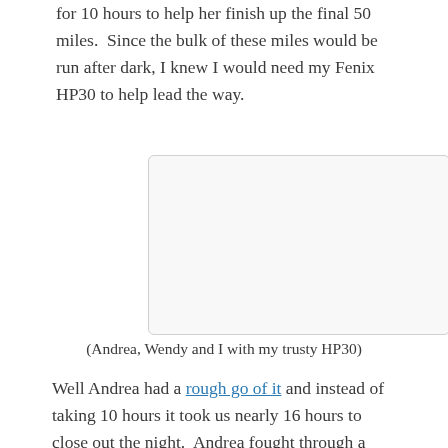for 10 hours to help her finish up the final 50 miles.  Since the bulk of these miles would be run after dark, I knew I would need my Fenix HP30 to help lead the way.
[Figure (photo): Blank/white image placeholder with rounded border, representing a photo of Andrea, Wendy and the author with the HP30 headlamp]
(Andrea, Wendy and I with my trusty HP30)
Well Andrea had a rough go of it and instead of taking 10 hours it took us nearly 16 hours to close out the night.  Andrea fought through a rough patch and my Fenix